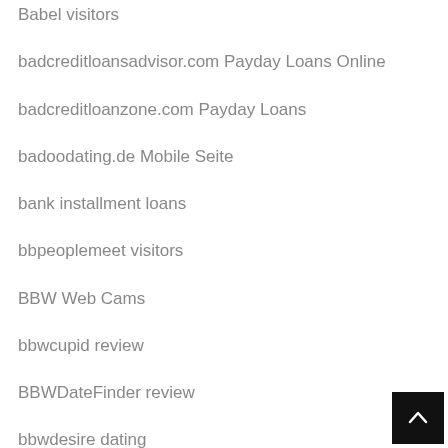Babel visitors
badcreditloansadvisor.com Payday Loans Online
badcreditloanzone.com Payday Loans
badoodating.de Mobile Seite
bank installment loans
bbpeoplemeet visitors
BBW Web Cams
bbwcupid review
BBWDateFinder review
bbwdesire dating
BDSM-Seiten kosten
beard dating review
beetalk kosten